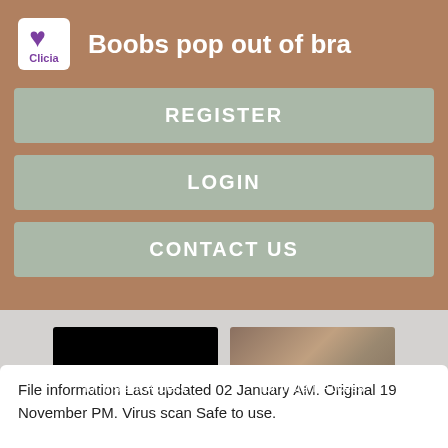Boobs pop out of bra
REGISTER
LOGIN
CONTACT US
[Figure (screenshot): Two thumbnail images side by side showing 'Register NOW for Instant Access' overlay text]
File information Last updated 02 January AM. Original 19 November PM. Virus scan Safe to use.